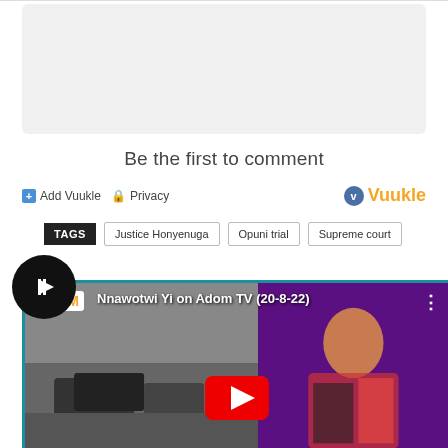[Figure (screenshot): Gray empty comment input box area]
Be the first to comment
Add Vuukle   Privacy   Vuukle
TAGS   Justice Honyenuga   Opuni trial   Supreme court
[Figure (screenshot): YouTube video thumbnail showing Nnawotwi Yi on Adom TV (20-8-22) with ADOM logo, left half showing cars on road, right half showing a woman presenter, with YouTube play button overlay and circular play button icon]